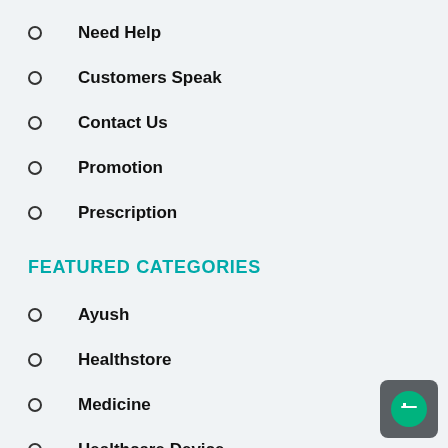Need Help
Customers Speak
Contact Us
Promotion
Prescription
FEATURED CATEGORIES
Ayush
Healthstore
Medicine
Healthcare Device